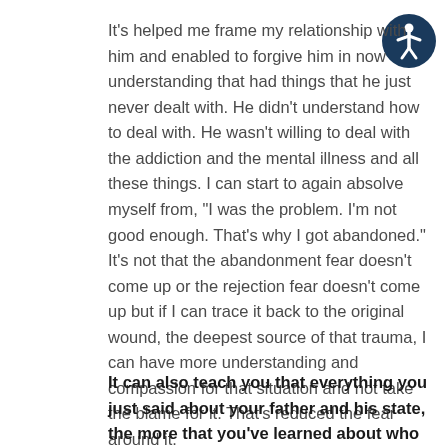It's helped me frame my relationship with him and enabled to forgive him in now understanding that had things that he just never dealt with. He didn't understand how to deal with. He wasn't willing to deal with the addiction and the mental illness and all these things. I can start to again absolve myself from, "I was the problem. I'm not good enough. That's why I got abandoned." It's not that the abandonment fear doesn't come up or the rejection fear doesn't come up but if I can trace it back to the original wound, the deepest source of that trauma, I can have more understanding and compassion for that situation and not take the blame for it. That's reduced the fear around it.
It can also teach you that everything you just said about your father and his state, the more that you've learned about who he was, it's a good reminder that it wasn't about you necessarily.
[Figure (illustration): Accessibility icon — circular dark navy blue badge with a white stick figure person with arms raised]